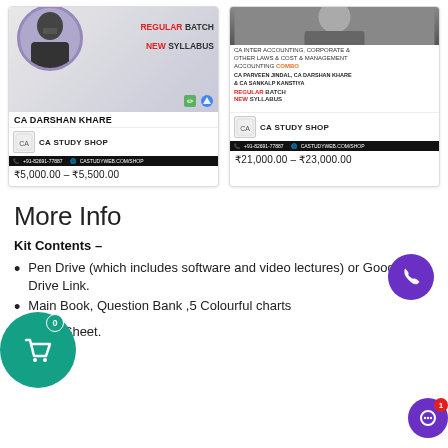[Figure (screenshot): Product card for CA Darshan Khare course - Regular Batch New Syllabus, priced at ₹5,000.00 – ₹5,500.00]
[Figure (screenshot): Product card for CA Inter Accounting, Corporate & Other Laws & Cost & Management Accounting Combo by CA Parveen Jindal, CA Darshan Khare & CA Sankalp Kanstiya - Regular Batch New Syllabus, priced at ₹21,000.00 – ₹23,000.00]
More Info
Kit Contents –
Pen Drive (which includes software and video lectures) or Google Drive Link.
Main Book, Question Bank ,5 Colourful charts
Index Sheet.